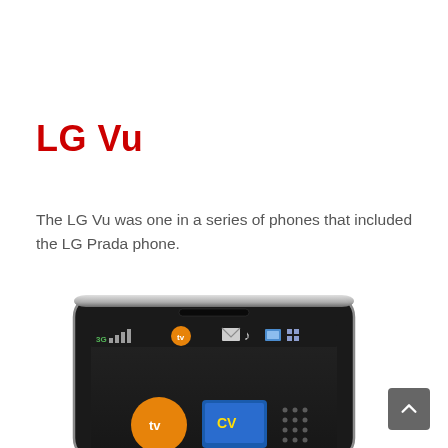LG Vu
The LG Vu was one in a series of phones that included the LG Prada phone.
[Figure (photo): Top portion of an LG Vu smartphone showing the glossy black body, earpiece, status bar with signal and app icons, and the beginning of the touchscreen display with TV and CV app icons visible.]